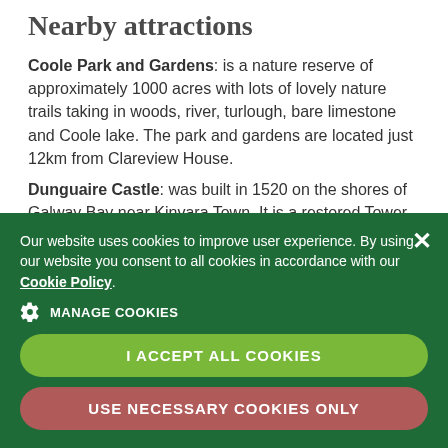Nearby attractions
Coole Park and Gardens: is a nature reserve of approximately 1000 acres with lots of lovely nature trails taking in woods, river, turlough, bare limestone and Coole lake. The park and gardens are located just 12km from Clareview House.
Dunguaire Castle: was built in 1520 on the shores of Galway Bay near Kinvara Town. It is a restored Tower House open to the public and gives an insight into the history of the times. It is located
Our website uses cookies to improve user experience. By using our website you consent to all cookies in accordance with our Cookie Policy.
MANAGE COOKIES
I ACCEPT ALL COOKIES
USE NECESSARY COOKIES ONLY